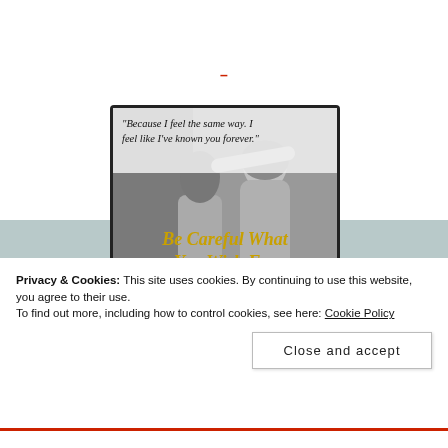— — — — — — — — — — — — — — — — — — — — — — — — — — — — — — — — — — — —
–
[Figure (illustration): Book cover image showing two figures (a woman and a man) in a close embrace in black and white. Text on the image reads: '"Because I feel the same way. I feel like I've known you forever."' and the book title 'Be Careful What You Wish For' in gold/yellow decorative font.]
Privacy & Cookies: This site uses cookies. By continuing to use this website, you agree to their use.
To find out more, including how to control cookies, see here: Cookie Policy
Close and accept